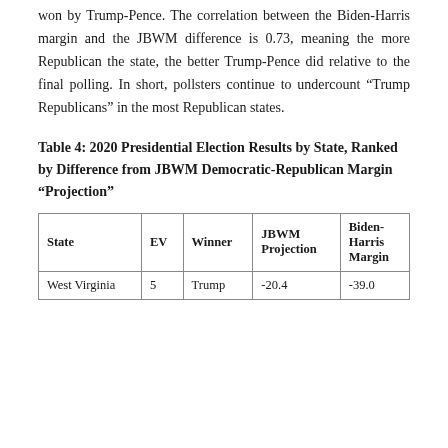won by Trump-Pence. The correlation between the Biden-Harris margin and the JBWM difference is 0.73, meaning the more Republican the state, the better Trump-Pence did relative to the final polling. In short, pollsters continue to undercount "Trump Republicans" in the most Republican states.
Table 4: 2020 Presidential Election Results by State, Ranked by Difference from JBWM Democratic-Republican Margin "Projection"
| State | EV | Winner | JBWM Projection | Biden-Harris Margin |
| --- | --- | --- | --- | --- |
| West Virginia | 5 | Trump | -20.4 | -39.0 |